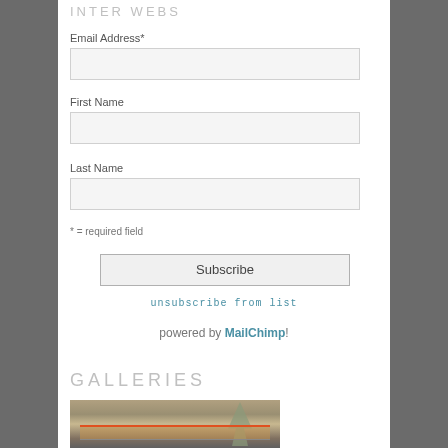INTER WEBS
Email Address*
First Name
Last Name
* = required field
Subscribe
unsubscribe from list
powered by MailChimp!
GALLERIES
[Figure (photo): Blurred street scene with a tree and building, motion blur effect]